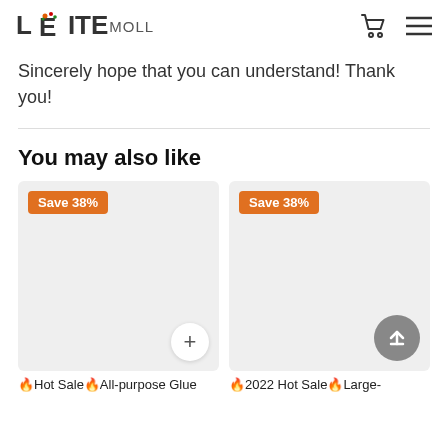LEITEMOLL
Sincerely hope that you can understand! Thank you!
You may also like
[Figure (screenshot): Two product cards side by side, each with an orange 'Save 38%' badge. First card has a '+' add button at bottom right. Second card has a back-to-top arrow button at bottom right. Both cards show empty gray product image placeholders.]
🔥Hot Sale🔥All-purpose Glue
🔥2022 Hot Sale🔥Large-